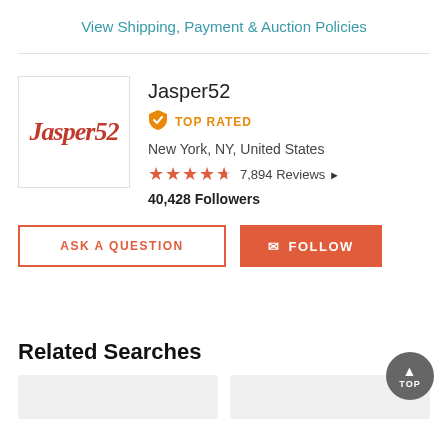View Shipping, Payment & Auction Policies
[Figure (logo): Jasper52 logo in red italic script font inside a white bordered box]
Jasper52
TOP RATED
New York, NY, United States
7,894 Reviews
40,428 Followers
ASK A QUESTION
FOLLOW
Related Searches